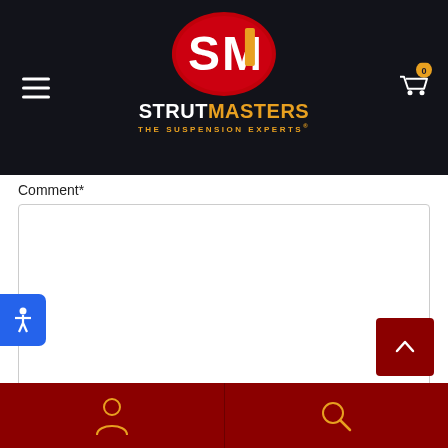[Figure (logo): StrutMasters logo with SM in a red oval and tagline 'THE SUSPENSION EXPERTS']
Comment*
Your name*
[Figure (screenshot): Mobile website form with Comment and Your name fields, accessibility widget, back-to-top button, and bottom navigation bar with person and search icons]